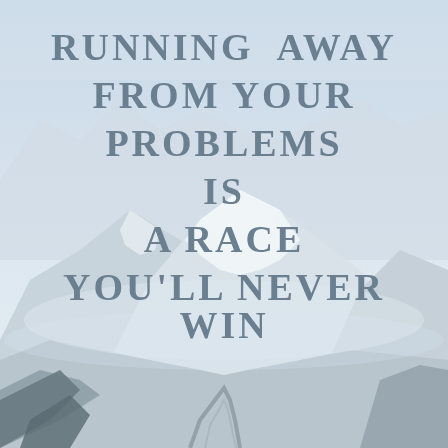[Figure (illustration): Snow-covered mountain landscape with peaks, valleys, and a winding road at the bottom. The scene is in muted, washed-out tones of white, light blue, and grey.]
RUNNING AWAY FROM YOUR PROBLEMS IS A RACE YOU'LL NEVER WIN